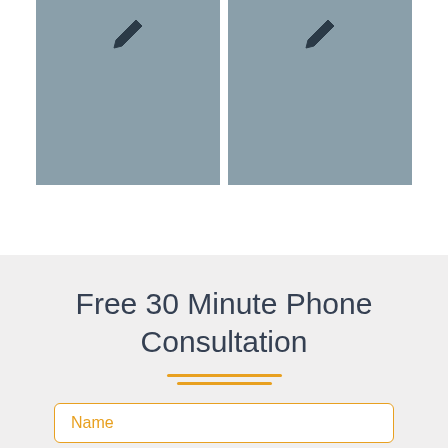[Figure (illustration): Two grey placeholder image boxes each containing a pencil icon, arranged side by side at the top of the page]
Free 30 Minute Phone Consultation
[Figure (other): Name input field with orange border and orange 'Name' placeholder label text]